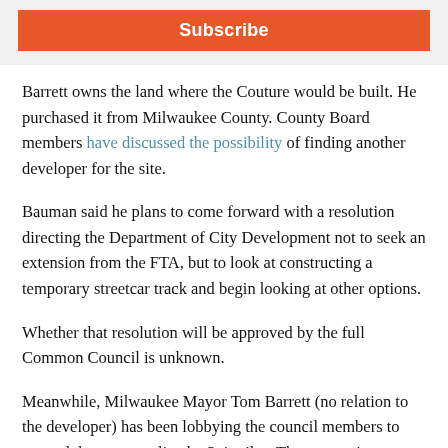[Figure (other): Subscribe button in orange/red bar on grey background]
Barrett owns the land where the Couture would be built. He purchased it from Milwaukee County. County Board members have discussed the possibility of finding another developer for the site.
Bauman said he plans to come forward with a resolution directing the Department of City Development not to seek an extension from the FTA, but to look at constructing a temporary streetcar track and begin looking at other options.
Whether that resolution will be approved by the full Common Council is unknown.
Meanwhile, Milwaukee Mayor Tom Barrett (no relation to the developer) has been lobbying the council members to expand the streetcar line by 2.4 miles. That expansion includes about a